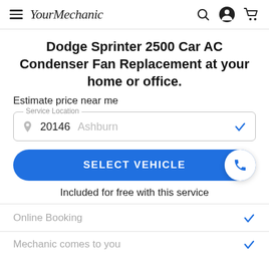YourMechanic
Dodge Sprinter 2500 Car AC Condenser Fan Replacement at your home or office.
Estimate price near me
Service Location: 20146 Ashburn
SELECT VEHICLE
Included for free with this service
Online Booking
Mechanic comes to you